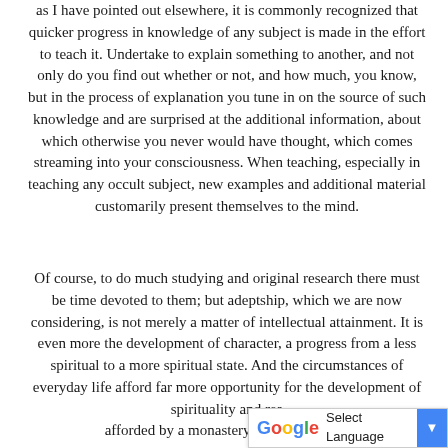as I have pointed out elsewhere, it is commonly recognized that quicker progress in knowledge of any subject is made in the effort to teach it. Undertake to explain something to another, and not only do you find out whether or not, and how much, you know, but in the process of explanation you tune in on the source of such knowledge and are surprised at the additional information, about which otherwise you never would have thought, which comes streaming into your consciousness. When teaching, especially in teaching any occult subject, new examples and additional material customarily present themselves to the mind.
Of course, to do much studying and original research there must be time devoted to them; but adeptship, which we are now considering, is not merely a matter of intellectual attainment. It is even more the development of character, a progress from a less spiritual to a more spiritual state. And the circumstances of everyday life afford far more opportunity for the development of spirituality and rea... afforded by a monastery or a wilderness;